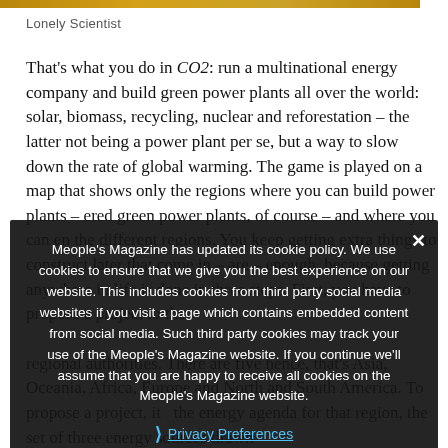[Figure (illustration): Thin horizontal decorative image bar at the top of the page with warm golden-brown tones]
Lonely Scientist
That's what you do in CO2: run a multinational energy company and build green power plants all over the world: solar, biomass, recycling, nuclear and reforestation – the latter not being a power plant per se, but a way to slow down the rate of global warming. The game is played on a map that shows only the regions where you can build power plants – ered green power plants, of course – and where you can en the different regions. You keep getting extra things to construct later that come in – are – enough, because getting anywhere in life is done in three steps. First, you have to propose a project to the regional authorities.
regional authorities. There are five hence, that's Asia, Oceania, Africa, Europe and North and South America. To propose a project, it the energy agenda for that region, the set of three energy sources drawn
Meople's Magazine has updated its cookie policy. We use cookies to ensure that we give you the best experience on our website. This includes cookies from third party social media websites if you visit a page which contains embedded content from social media. Such third party cookies may track your use of the Meople's Magazine website. If you continue we'll assume that you are happy to receive all cookies on the Meople's Magazine website.
Privacy Preferences
I Agree